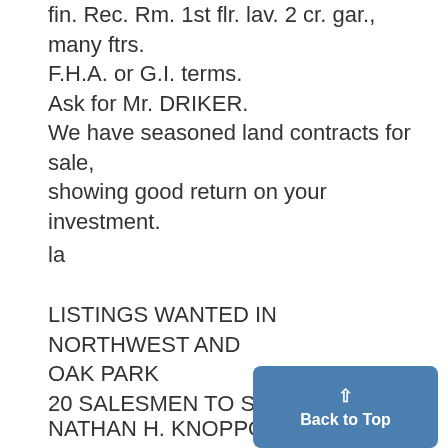fin. Rec. Rm. 1st flr. lav. 2 cr. gar., many ftrs. F.H.A. or G.I. terms. Ask for Mr. DRIKER.
We have seasoned land contracts for sale, showing good return on your investment.
la
LISTINGS WANTED IN NORTHWEST AND OAK PARK
20 SALESMEN TO SERVE YOU
NATHAN H. KNOPPOW